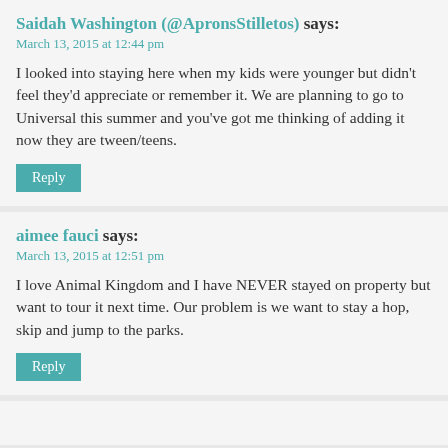Saidah Washington (@ApronsStilletos) says:
March 13, 2015 at 12:44 pm
I looked into staying here when my kids were younger but didn't feel they'd appreciate or remember it. We are planning to go to Universal this summer and you've got me thinking of adding it now they are tween/teens.
Reply
aimee fauci says:
March 13, 2015 at 12:51 pm
I love Animal Kingdom and I have NEVER stayed on property but want to tour it next time. Our problem is we want to stay a hop, skip and jump to the parks.
Reply